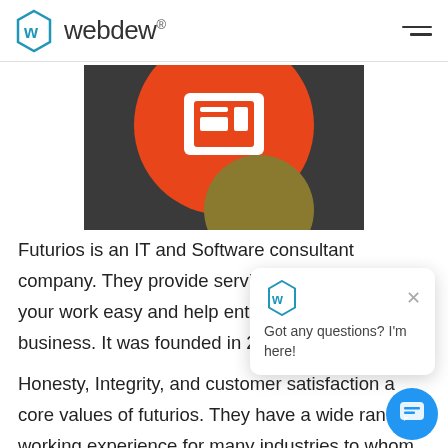webdew®
[Figure (illustration): Futurios software company logo/app icon on dark background with orange circle and white square icon]
Futurios is an IT and Software consultant company. They provide services that will make your work easy and help enterprises to grow their business. It was founded in 2016 and n[obscured by chat popup] team, offering services[obscured]
[Figure (other): Chat popup widget with webdew logo icon and text 'Got any questions? I'm here!']
Honesty, Integrity, and customer satisfaction a[obscured] core values of futurios. They have a wide ran[obscured] working experience for many industries to whom